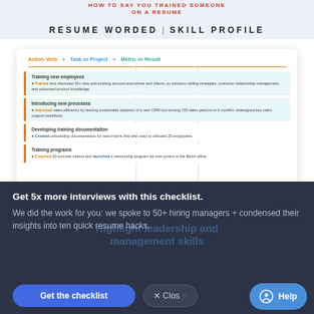RESUME WORDED | SKILL PROFILE
HOW TO SAY YOU TRAINED SOMEONE ON A RESUME
[Figure (screenshot): Screenshot of a resume template showing bullet points with Action Verb, Task or Project, and Metric or Result columns. Contains four sections: Training new employees, Introducing new processes, Developing training documentation, Training programs. Each section has highlighted bullet point examples with action words like Trained, Improved, Created, Coached.]
EXPAND
Get 5x more interviews with this checklist.
We did the work for you: we spoke to 50+ hiring managers + condensed their insights into ten quick resume hacks.
Get the checklist
✕ Close
Help